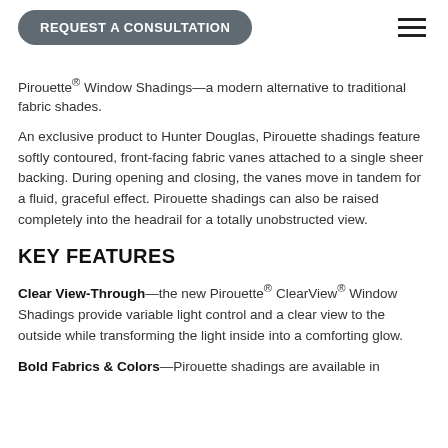REQUEST A CONSULTATION
Pirouette® Window Shadings—a modern alternative to traditional fabric shades.
An exclusive product to Hunter Douglas, Pirouette shadings feature softly contoured, front-facing fabric vanes attached to a single sheer backing. During opening and closing, the vanes move in tandem for a fluid, graceful effect. Pirouette shadings can also be raised completely into the headrail for a totally unobstructed view.
KEY FEATURES
Clear View-Through—the new Pirouette® ClearView® Window Shadings provide variable light control and a clear view to the outside while transforming the light inside into a comforting glow.
Bold Fabrics & Colors—Pirouette shadings are available in